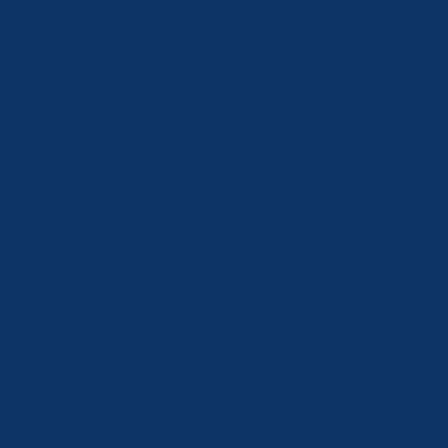m Brady as Chief Whip, but I think that would conflict with his ro